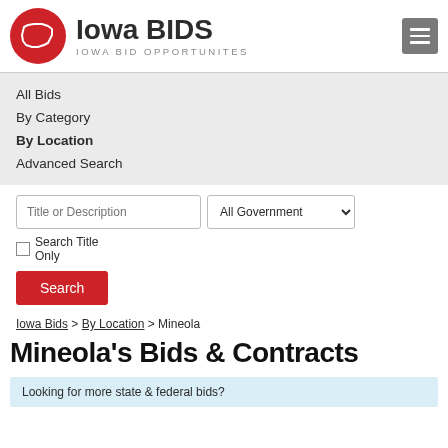[Figure (logo): Iowa BIDS logo with red circle containing Iowa state map outline, text 'Iowa BIDS' and 'IOWA BID OPPORTUNITES']
All Bids
By Category
By Location
Advanced Search
Title or Description | All Government ▼ | Search Title Only | Search
Iowa Bids > By Location > Mineola
Mineola's Bids & Contracts
Looking for more state & federal bids?